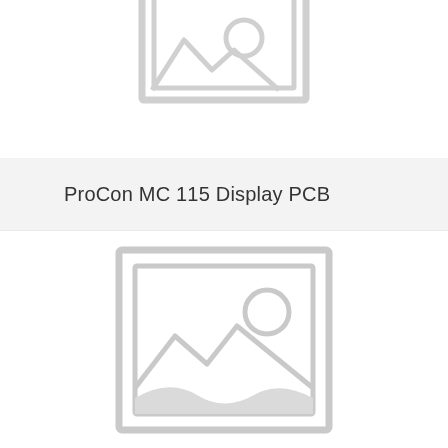[Figure (photo): Top portion of a product image placeholder showing the upper part of a grey image placeholder icon (partially cropped at top)]
ProCon MC 115 Display PCB
[Figure (photo): Full grey image placeholder icon with a landscape/mountain and sun symbol, representing a missing product photo for ProCon MC 115 Display PCB]